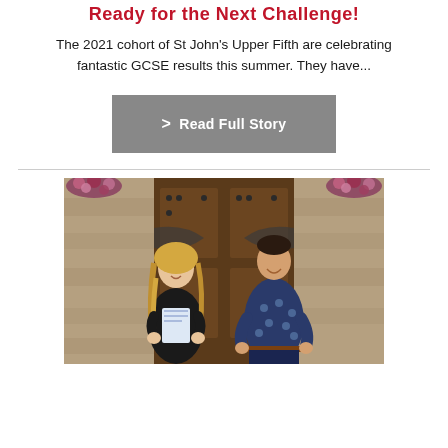Ready for the Next Challenge!
The 2021 cohort of St John's Upper Fifth are celebrating fantastic GCSE results this summer. They have...
> Read Full Story
[Figure (photo): A smiling teenage girl in a black t-shirt holding papers/results stands next to a smiling adult male in a navy floral shirt, both standing in front of a large ornate wooden door with stone architecture and flower baskets in the background]